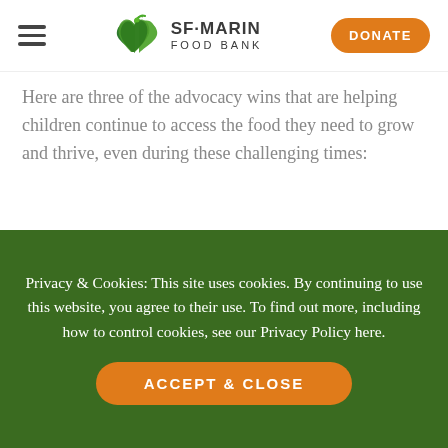SF-MARIN FOOD BANK | DONATE
Here are three of the advocacy wins that are helping children continue to access the food they need to grow and thrive, even during these challenging times:
1. Children of all ages can access grab-and-go school meals during COVID-related school closures. The Families First Coronavirus Response
Privacy & Cookies: This site uses cookies. By continuing to use this website, you agree to their use. To find out more, including how to control cookies, see our Privacy Policy here.